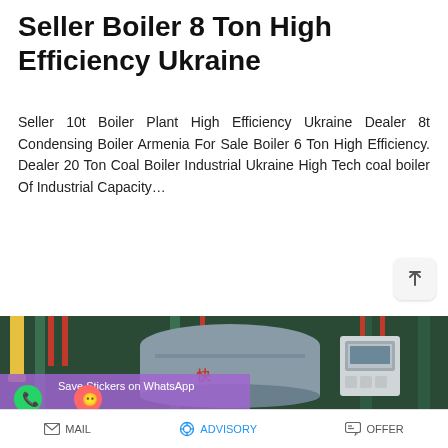Seller Boiler 8 Ton High Efficiency Ukraine
Seller 10t Boiler Plant High Efficiency Ukraine Dealer 8t Condensing Boiler Armenia For Sale Boiler 6 Ton High Efficiency. Dealer 20 Ton Coal Boiler Industrial Ukraine High Tech coal boiler Of Industrial Capacity…
[Figure (other): READ MORE button - blue rounded pill button]
[Figure (photo): Industrial boiler room with large cylindrical boiler tank, green and red pipes, control panel. WhatsApp save stickers overlay bar with phone and emoji icons visible at bottom of photo.]
MAIL   ADVISORY   OFFER